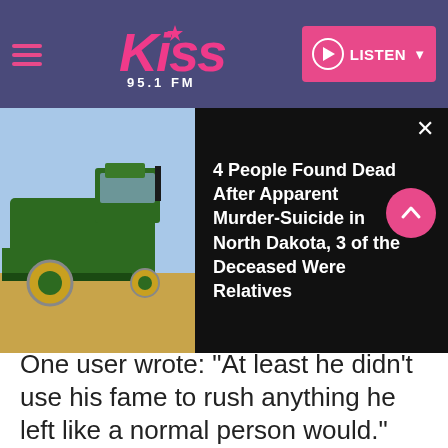Kiss 95.1 FM — LISTEN
[Figure (screenshot): Black overlay banner showing a green combine harvester in a field on the left, and a news headline on the right reading: 4 People Found Dead After Apparent Murder-Suicide in North Dakota, 3 of the Deceased Were Relatives]
One user wrote: "At least he didn't use his fame to rush anything he left like a normal person would."
[Figure (illustration): Advertisement for Yiasou Greek Festival with yellow background and decorative starburst pattern, large blue text reading YIASOU GREEK FESTIVAL]